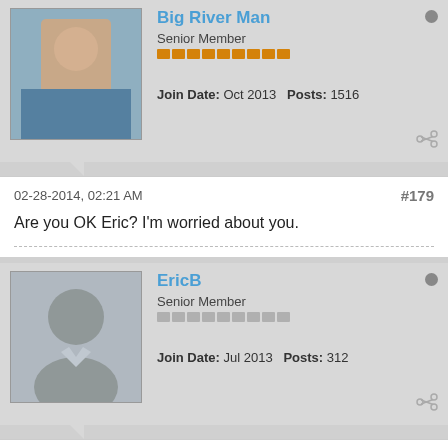Big River Man
Senior Member
Join Date: Oct 2013  Posts: 1516
02-28-2014, 02:21 AM
#179
Are you OK Eric? I'm worried about you.
EricB
Senior Member
Join Date: Jul 2013  Posts: 312
02-28-2014, 03:38 PM
#180
Originally posted by Big River Man
Are you OK Eric? I'm worried about you.
Honestly i think i spoke to soon we were up above 65 pins on